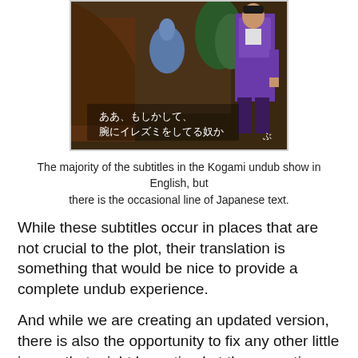[Figure (screenshot): Screenshot from Shenmue game showing a character in a purple suit with Japanese subtitle text: ああ、もしかして、腕にイレズミをしてる奴か]
The majority of the subtitles in the Kogami undub show in English, but there is the occasional line of Japanese text.
While these subtitles occur in places that are not crucial to the plot, their translation is something that would be nice to provide a complete undub experience.
And while we are creating an updated version, there is also the opportunity to fix any other little issues that might be noticed at the same time.
Editing the Subtitle Files
People who have been involved with modding or hacking Shenmue in the past will probably be aware of a customized